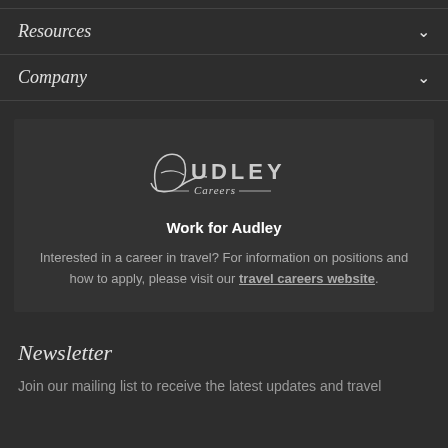Resources
Company
[Figure (logo): Audley Careers logo — stylized script letter A with 'UDLEY' in caps and 'Careers' below with decorative lines]
Work for Audley
Interested in a career in travel? For information on positions and how to apply, please visit our travel careers website.
Newsletter
Join our mailing list to receive the latest updates and travel